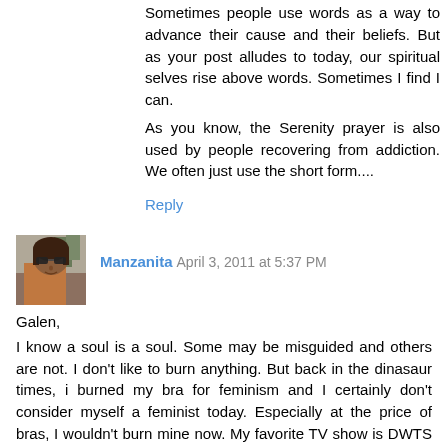Sometimes people use words as a way to advance their cause and their beliefs. But as your post alludes to today, our spiritual selves rise above words. Sometimes I find I can.
As you know, the Serenity prayer is also used by people recovering from addiction. We often just use the short form....
Reply
[Figure (photo): Small avatar photo of Manzanita, showing a person with dark hair and sunglasses]
Manzanita   April 3, 2011 at 5:37 PM
Galen,
I know a soul is a soul. Some may be misguided and others are not. I don't like to burn anything. But back in the dinasaur times, i burned my bra for feminism and I certainly don't consider myself a feminist today. Especially at the price of bras, I wouldn't burn mine now. My favorite TV show is DWTS (Dancing With The Stars). The one who is sent home each week burns their dance shoes on the Jimmy Kimmel show right after.
Thank you Galen for commenting on the Bata de cola